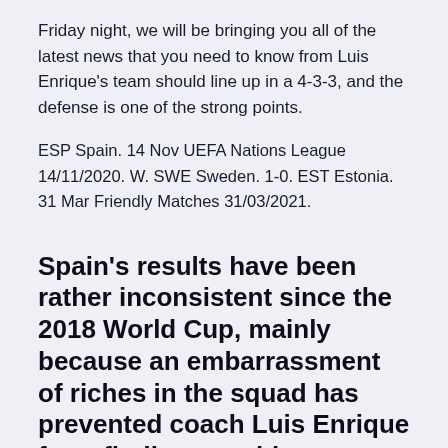Friday night, we will be bringing you all of the latest news that you need to know from Luis Enrique's team should line up in a 4-3-3, and the defense is one of the strong points.
ESP Spain. 14 Nov UEFA Nations League 14/11/2020. W. SWE Sweden. 1-0. EST Estonia. 31 Mar Friendly Matches 31/03/2021.
Spain's results have been rather inconsistent since the 2018 World Cup, mainly because an embarrassment of riches in the squad has prevented coach Luis Enrique from finding a stable